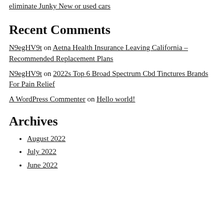eliminate Junky New or used cars
Recent Comments
N9egHV9t on Aetna Health Insurance Leaving California – Recommended Replacement Plans
N9egHV9t on 2022s Top 6 Broad Spectrum Cbd Tinctures Brands For Pain Relief
A WordPress Commenter on Hello world!
Archives
August 2022
July 2022
June 2022